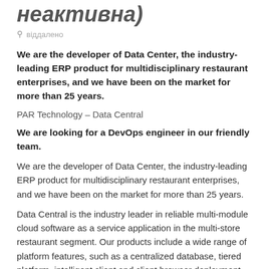неактивна)
віддалено
We are the developer of Data Center, the industry-leading ERP product for multidisciplinary restaurant enterprises, and we have been on the market for more than 25 years.
PAR Technology – Data Central
We are looking for a DevOps engineer in our friendly team.
We are the developer of Data Center, the industry-leading ERP product for multidisciplinary restaurant enterprises, and we have been on the market for more than 25 years.
Data Central is the industry leader in reliable multi-module cloud software as a service application in the multi-store restaurant segment. Our products include a wide range of platform features, such as a centralized database, tiered platform, intelligent client and client browser deployment,